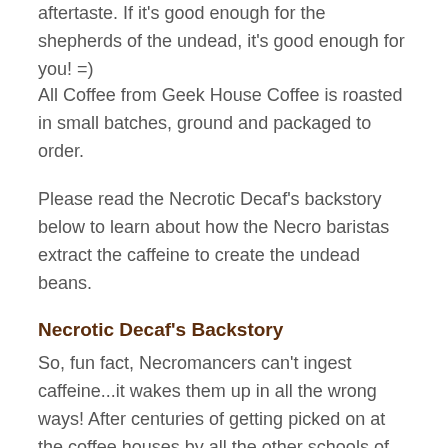aftertaste. If it's good enough for the shepherds of the undead, it's good enough for you! =)
All Coffee from Geek House Coffee is roasted in small batches, ground and packaged to order.
Please read the Necrotic Decaf's backstory below to learn about how the Necro baristas extract the caffeine to create the undead beans.
Necrotic Decaf's Backstory
So, fun fact, Necromancers can't ingest caffeine...it wakes them up in all the wrong ways! After centuries of getting picked on at the coffee houses by all the other schools of magic users, they devised a way to solve this problem as only a Necro can.